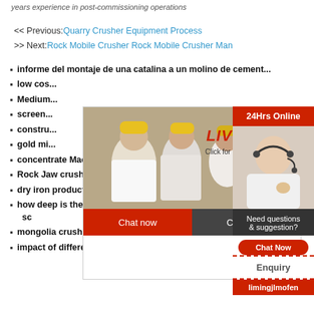years experience in post-commissioning operations
<< Previous: Quarry Crusher Equipment Process
>> Next: Rock Mobile Crusher Rock Mobile Crusher Man
informe del montaje de una catalina a un molino de cement...
low cos...
Medium...
screen...
constru...
gold mi...
concentrate Machine For Mines
Rock Jaw crusher plates specs
dry iron production
how deep is the water at the limestone g... sc
mongolia crushing for mining
impact of different iron ore types in bene...
[Figure (screenshot): Live chat popup with workers in hard hats and a customer service agent. Contains LIVE CHAT text, Click for a Free Consultation subtitle, Chat now and Chat later buttons.]
[Figure (screenshot): Right sidebar with 24Hrs Online, agent photo, Need questions & suggestion?, Chat Now button, Enquiry link, and limingjlmofen brand text.]